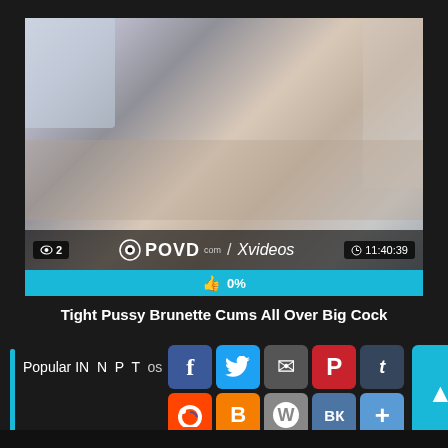[Figure (screenshot): Video thumbnail from POVD.com/Xvideos showing a brunette woman in a bedroom. Overlay shows view count of 2, POVD.com/Xvideos watermark, and duration 11:40:39.]
👍 0%
Tight Pussy Brunette Cums All Over Big Cock
Popular IN N P T videos
[Figure (infographic): Social sharing buttons: Facebook, Twitter, Email, Pinterest, Tumblr (top row); Reddit, Blogger, WordPress, VK, More (bottom row). Scroll-to-top button at right.]